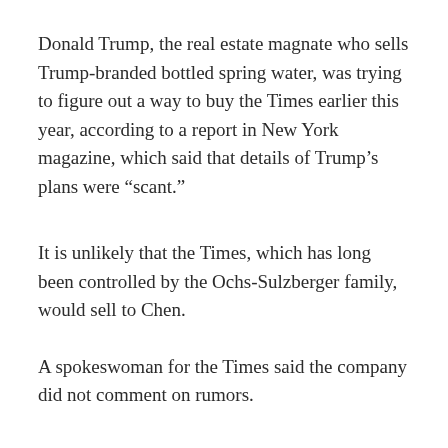Donald Trump, the real estate magnate who sells Trump-branded bottled spring water, was trying to figure out a way to buy the Times earlier this year, according to a report in New York magazine, which said that details of Trump’s plans were “scant.”
It is unlikely that the Times, which has long been controlled by the Ochs-Sulzberger family, would sell to Chen.
A spokeswoman for the Times said the company did not comment on rumors.